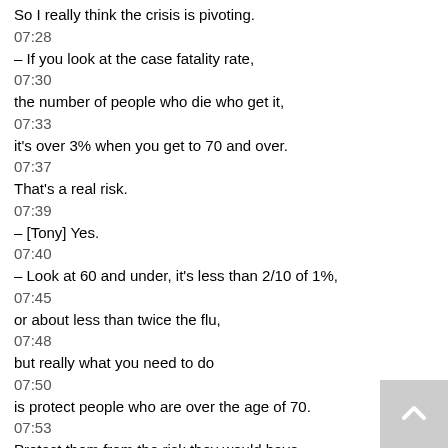So I really think the crisis is pivoting.
07:28
– If you look at the case fatality rate,
07:30
the number of people who die who get it,
07:33
it's over 3% when you get to 70 and over.
07:37
That's a real risk.
07:39
– [Tony] Yes.
07:40
– Look at 60 and under, it's less than 2/10 of 1%,
07:45
or about less than twice the flu,
07:48
but really what you need to do
07:50
is protect people who are over the age of 70.
07:53
Protect them from the risk they would have
07:56
if they were exposed to the virus